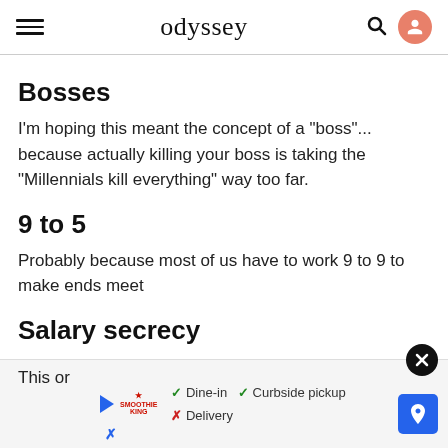odyssey
Bosses
I'm hoping this meant the concept of a "boss"... because actually killing your boss is taking the "Millennials kill everything" way too far.
9 to 5
Probably because most of us have to work 9 to 9 to make ends meet
Salary secrecy
This or
[Figure (screenshot): Advertisement banner with Smoothie King logo, play button icon, dine-in/curbside pickup/delivery options with checkmarks and X marks, close button, and navigation arrow button]